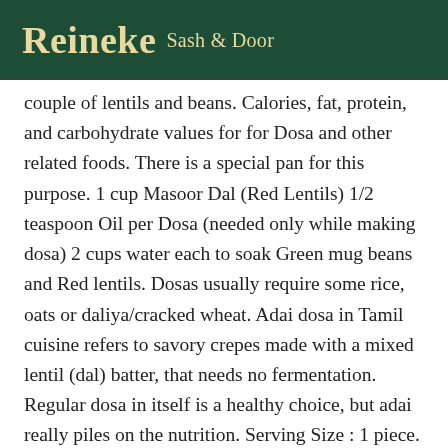Reineke Sash & Door
couple of lentils and beans. Calories, fat, protein, and carbohydrate values for for Dosa and other related foods. There is a special pan for this purpose. 1 cup Masoor Dal (Red Lentils) 1/2 teaspoon Oil per Dosa (needed only while making dosa) 2 cups water each to soak Green mug beans and Red lentils. Dosas usually require some rice, oats or daliya/cracked wheat. Adai dosa in Tamil cuisine refers to savory crepes made with a mixed lentil (dal) batter, that needs no fermentation. Regular dosa in itself is a healthy choice, but adai really piles on the nutrition. Serving Size : 1 piece. 1 large ... Let stand for 12 hours (in a warm place free from drafts) or ... 120 Cal. Sodium 2,300g--/ 2,300g left. It is also served with different types of chutney made from tomato, tamarind, coconut and sambhar,